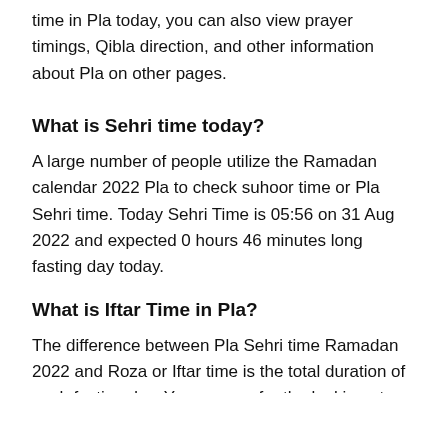time in Pla today, you can also view prayer timings, Qibla direction, and other information about Pla on other pages.
What is Sehri time today?
A large number of people utilize the Ramadan calendar 2022 Pla to check suhoor time or Pla Sehri time. Today Sehri Time is 05:56 on 31 Aug 2022 and expected 0 hours 46 minutes long fasting day today.
What is Iftar Time in Pla?
The difference between Pla Sehri time Ramadan 2022 and Roza or Iftar time is the total duration of each fasting day. You can are for the looking at Iftar time in Pla today.